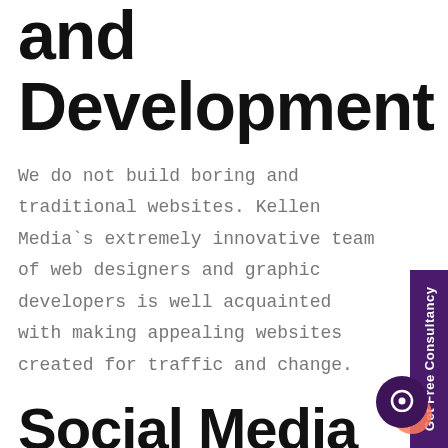and Development
We do not build boring and traditional websites. Kellen Media`s extremely innovative team of web designers and graphic developers is well acquainted with making appealing websites created for traffic and change.
Social Media Marketing